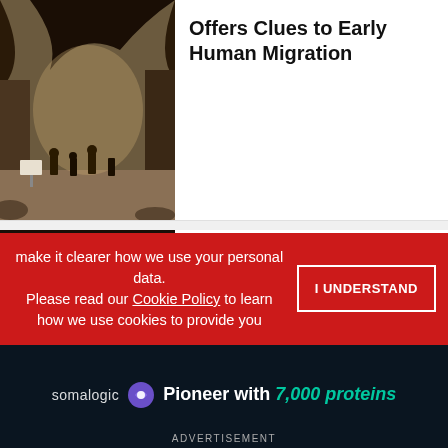[Figure (photo): Photo of a cave site with people and equipment inside, archaeological dig scene]
Offers Clues to Early Human Migration
[Figure (photo): Close-up photo of a black dog's face being held by human hands]
Dogs Cry Tears of Joy: Study
[Figure (photo): Partially visible article image, blue toned]
make it clearer how we use your personal data. Please read our Cookie Policy to learn how we use cookies to provide you
I UNDERSTAND
[Figure (advertisement): Somalogic advertisement: Pioneer with 7,000 proteins]
ADVERTISEMENT